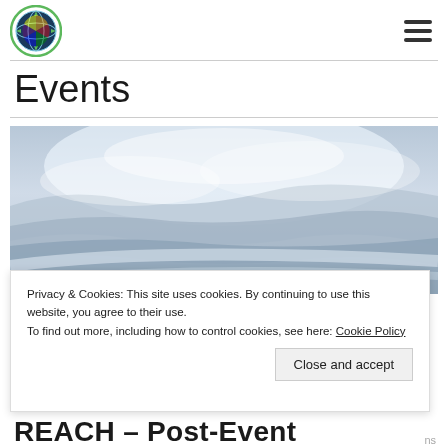[Figure (logo): Circular organization logo with green border and colorful globe-like icon]
Navigation hamburger menu icon
Events
[Figure (photo): Cloudy overcast sky with grey and white clouds]
Privacy & Cookies: This site uses cookies. By continuing to use this website, you agree to their use.
To find out more, including how to control cookies, see here: Cookie Policy
Close and accept
REACH – Post-Event